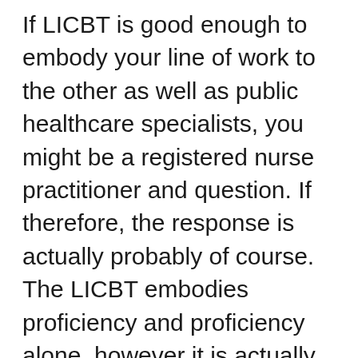If LICBT is good enough to embody your line of work to the other as well as public healthcare specialists, you might be a registered nurse practitioner and question. If therefore, the response is actually probably of course. The LICBT embodies proficiency and proficiency alone, however it is actually additionally the premium of your efficiency that's important. Consider the amount of you may include in your existing skillset by including state-of-the-art training. It